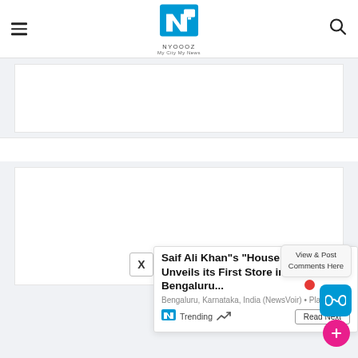NYOOOZ – My City My News
[Figure (screenshot): Website screenshot of NYOOOZ news site showing header with hamburger menu, NYOOOZ logo, and search icon. Below are advertisement placeholder blocks. A popup card shows a trending news story: 'Saif Ali Khan"s "House of Pataudi" Unveils its First Store in Bengaluru...' with meta 'Bengaluru, Karnataka, India (NewsVoir) • Plan...' and a Trending badge with Read Next button. A 'View & Post Comments Here' bubble appears top right with an infinity button and red dot notification.]